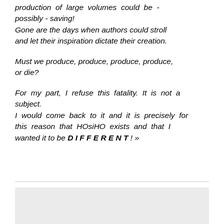production of large volumes could be - possibly - saving!
Gone are the days when authors could stroll and let their inspiration dictate their creation.
Must we produce, produce, produce, produce, or die?
For my part, I refuse this fatality. It is not a subject.
I would come back to it and it is precisely for this reason that HOsiHO exists and that I wanted it to be DIFFERENT ! »
[Figure (other): Gray rectangle at the bottom of the page, below a horizontal rule]